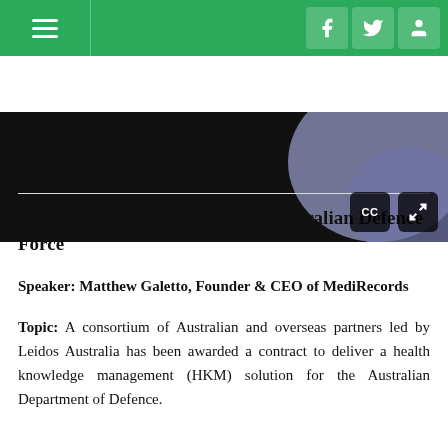[Figure (screenshot): Green navigation bar with hamburger menu on the left and social media icons (Facebook, Twitter, user/profile) on the right]
[Figure (screenshot): Black video player area with a light purple/lavender blob graphic on the right, CC (closed captions) and fullscreen expand buttons visible in the bottom right]
Case Study 4: FHIRing up the Australian Defence Force
Speaker: Matthew Galetto, Founder & CEO of MediRecords
Topic: A consortium of Australian and overseas partners led by Leidos Australia has been awarded a contract to deliver a health knowledge management (HKM) solution for the Australian Department of Defence.